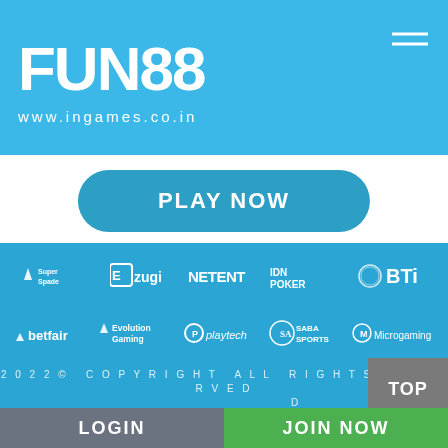[Figure (logo): FUN88 logo in white bold text on blue background with www.ingames.co.in subtitle]
[Figure (other): PLAY NOW button in teal rounded rectangle]
[Figure (logo): Partner logos row 1: Super Spade, Ezugi, NetEnt, IDN Poker, BTi]
[Figure (logo): Partner logos row 2: betfair, Evolution Gaming, Playtech, Saba Sports, Microgaming]
2022© COPYRIGHT ALL RIGHTS RESERVED
[Figure (other): TOP button gray square]
[Figure (other): LOGIN and JOIN NOW bottom navigation bar]